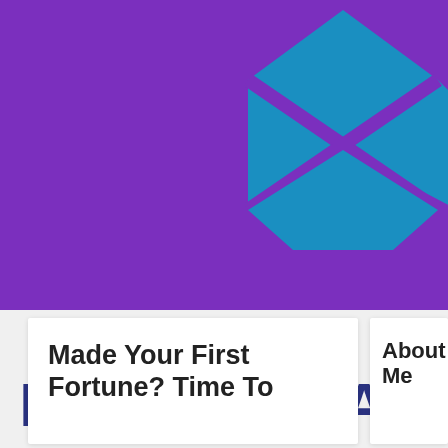[Figure (logo): Purple banner header with blue geometric diamond/envelope logo icon on the right side]
MISIONERA
Made Your First Fortune? Time To
About Me